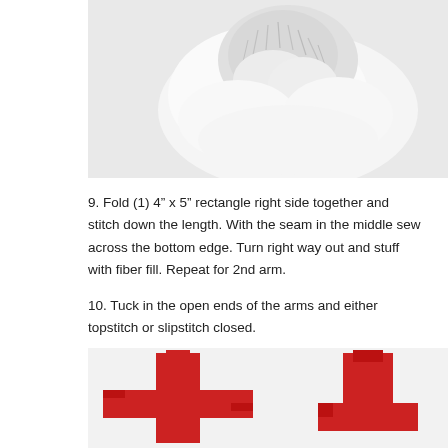[Figure (photo): Close-up photo of a white fluffy stuffed animal or fabric object on a white background, showing textured fur-like material]
9. Fold (1) 4" x 5" rectangle right side together and stitch down the length. With the seam in the middle sew across the bottom edge. Turn right way out and stuff with fiber fill. Repeat for 2nd arm.
10. Tuck in the open ends of the arms and either topstitch or slipstitch closed.
[Figure (photo): Photo of red fabric shaped like a cross/plus sign, viewed from above on white background, showing sewn arm pieces]
[Figure (photo): Photo of red fabric arm piece partially visible on right side, showing construction detail]